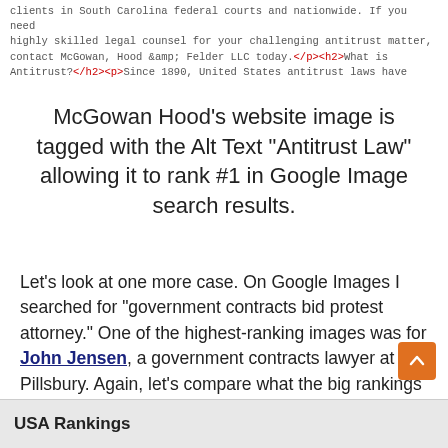clients in South Carolina federal courts and nationwide. If you need highly skilled legal counsel for your challenging antitrust matter, contact McGowan, Hood &amp; Felder LLC today.</p><h2>What is Antitrust?</h2><p>Since 1890, United States antitrust laws have
McGowan Hood's website image is tagged with the Alt Text "Antitrust Law" allowing it to rank #1 in Google Image search results.
Let’s look at one more case. On Google Images I searched for “government contracts bid protest attorney.” One of the highest-ranking images was for John Jensen, a government contracts lawyer at Pillsbury. Again, let’s compare what the big rankings companies say about the top government contracts practices. Both Chambers and Partners and the Legal 500 list Pillsbury Winthrop Shaw Pittman LLP in the third tier of this practice area. Here is a screenshot of the Chambers top three tiers:
[Figure (other): Orange scroll-to-top button with upward chevron arrow]
USA Rankings